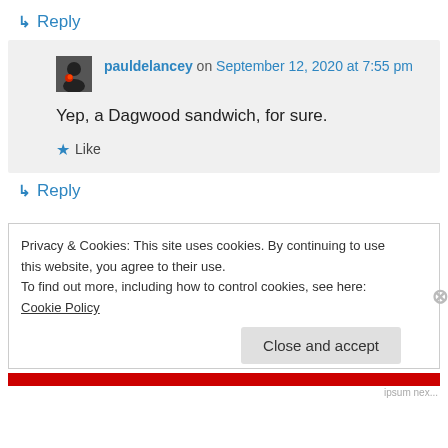↳ Reply
pauldelancey on September 12, 2020 at 7:55 pm
Yep, a Dagwood sandwich, for sure.
★ Like
↳ Reply
Privacy & Cookies: This site uses cookies. By continuing to use this website, you agree to their use.
To find out more, including how to control cookies, see here: Cookie Policy
Close and accept